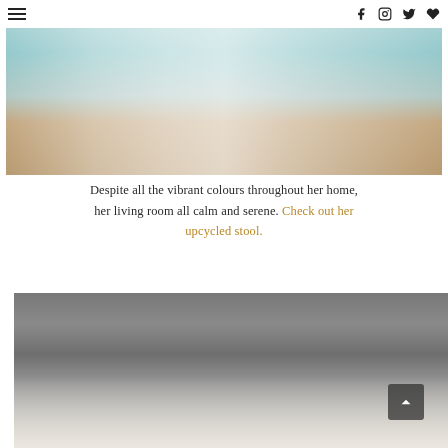☰  [nav icons: facebook, instagram, twitter, heart]
[Figure (photo): A girl's bedroom with teal/aqua walls, a white ruffled bed, a blue floral armchair with pink pillow, white step stool, and a pink stuffed horse toy.]
Despite all the vibrant colours throughout her home, her living room all calm and serene. Check out her upcycled stool.
[Figure (photo): A calm living room with grey walls, a white sofa, decorative pillows including a leopard print, and a small side table.]